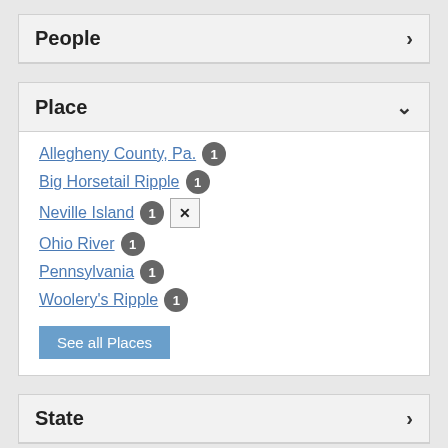People
Place
Allegheny County, Pa. 1
Big Horsetail Ripple 1
Neville Island 1
Ohio River 1
Pennsylvania 1
Woolery's Ripple 1
See all Places
State
Source